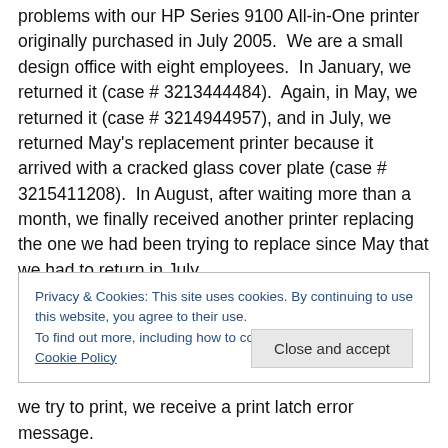problems with our HP Series 9100 All-in-One printer originally purchased in July 2005. We are a small design office with eight employees. In January, we returned it (case # 3213444484). Again, in May, we returned it (case # 3214944957), and in July, we returned May's replacement printer because it arrived with a cracked glass cover plate (case # 3215411208). In August, after waiting more than a month, we finally received another printer replacing the one we had been trying to replace since May that we had to return in July.
Privacy & Cookies: This site uses cookies. By continuing to use this website, you agree to their use.
To find out more, including how to control cookies, see here: Cookie Policy
we try to print, we receive a print latch error message.